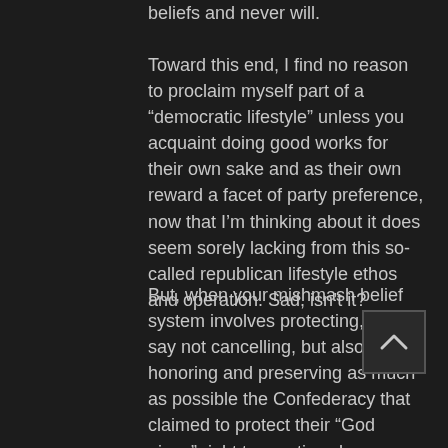beliefs and never will.
Toward this end, I find no reason to proclaim myself part of a “democratic lifestyle” unless you acquaint doing good works for their own sake and as their own reward a facet of party preference, now that I’m thinking about it does seem sorely lacking from this so-called republican lifestyle ethos and operation. Sad, isn’t it?
But, when your mishmash belief system involves protecting, or let’s say not cancelling, but also honoring and preserving as much as possible the Confederacy that claimed to protect their “God given” right to practice slavery as a hideous feature of States’ rights,